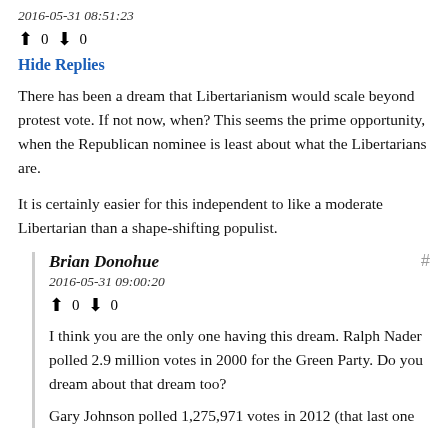2016-05-31 08:51:23
↑ 0 ↓ 0
Hide Replies
There has been a dream that Libertarianism would scale beyond protest vote. If not now, when? This seems the prime opportunity, when the Republican nominee is least about what the Libertarians are.
It is certainly easier for this independent to like a moderate Libertarian than a shape-shifting populist.
Brian Donohue
2016-05-31 09:00:20
↑ 0 ↓ 0
I think you are the only one having this dream. Ralph Nader polled 2.9 million votes in 2000 for the Green Party. Do you dream about that dream too?
Gary Johnson polled 1,275,971 votes in 2012 (that last one